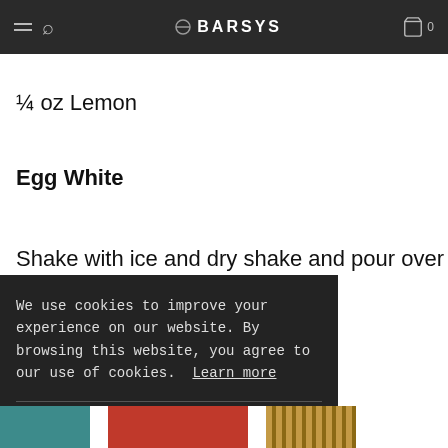BARSYS
¼ oz Lemon
Egg White
Shake with ice and dry shake and pour over ice
We use cookies to improve your experience on our website. By browsing this website, you agree to our use of cookies. Learn more
ACCEPT & CLOSE